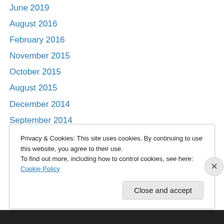June 2019
August 2016
February 2016
November 2015
October 2015
August 2015
December 2014
September 2014
June 2014
May 2014
February 2014
November 2013
October 2013
Privacy & Cookies: This site uses cookies. By continuing to use this website, you agree to their use.
To find out more, including how to control cookies, see here: Cookie Policy
Close and accept